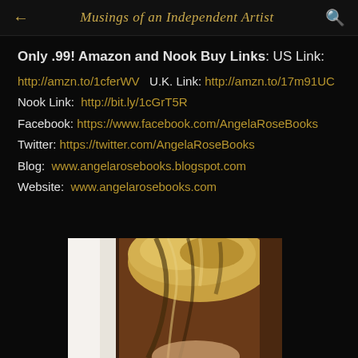← Musings of an Independent Artist 🔍
Only .99! Amazon and Nook Buy Links: US Link:
http://amzn.to/1cferWV  U.K. Link:  http://amzn.to/17m91UC
Nook Link:  http://bit.ly/1cGrT5R
Facebook: https://www.facebook.com/AngelaRoseBooks
Twitter: https://twitter.com/AngelaRoseBooks
Blog:  www.angelarosebooks.blogspot.com
Website:  www.angelarosebooks.com
[Figure (photo): Partial photo of a blonde woman, cropped at bottom of page, showing top of head with highlighted blonde hair]